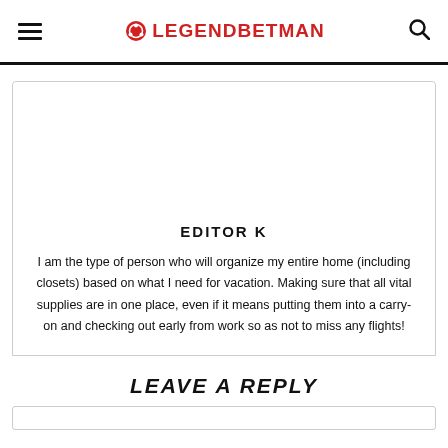LEGENDBETMAN
[Figure (illustration): Author profile image placeholder (white space)]
EDITOR K
I am the type of person who will organize my entire home (including closets) based on what I need for vacation. Making sure that all vital supplies are in one place, even if it means putting them into a carry-on and checking out early from work so as not to miss any flights!
LEAVE A REPLY